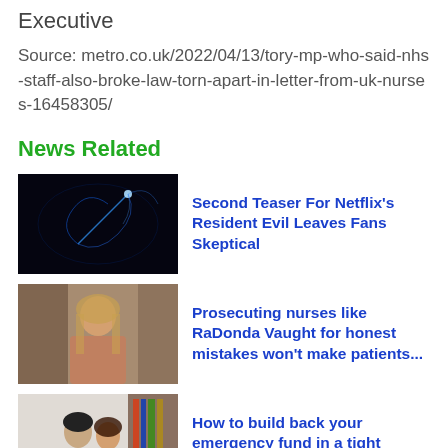Executive
Source: metro.co.uk/2022/04/13/tory-mp-who-said-nhs-staff-also-broke-law-torn-apart-in-letter-from-uk-nurses-16458305/
News Related
[Figure (photo): Dark abstract image with glowing blue light streaks on black background]
Second Teaser For Netflix's Resident Evil Leaves Fans Skeptical
[Figure (photo): Photo of a young woman with long blonde hair sitting indoors]
Prosecuting nurses like RaDonda Vaught for honest mistakes won't make patients...
[Figure (photo): Photo of a couple sitting together looking at a laptop]
How to build back your emergency fund in a tight budget